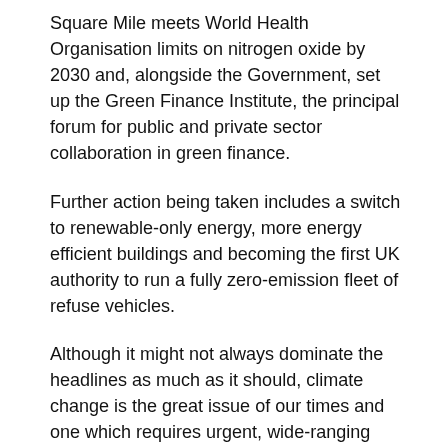Square Mile meets World Health Organisation limits on nitrogen oxide by 2030 and, alongside the Government, set up the Green Finance Institute, the principal forum for public and private sector collaboration in green finance.
Further action being taken includes a switch to renewable-only energy, more energy efficient buildings and becoming the first UK authority to run a fully zero-emission fleet of refuse vehicles.
Although it might not always dominate the headlines as much as it should, climate change is the great issue of our times and one which requires urgent, wide-ranging action.
As the voice of the UK's financial and professional services sector and the governing body for the Square Mile; through strategic, sector-wide initiatives as well as smaller scale